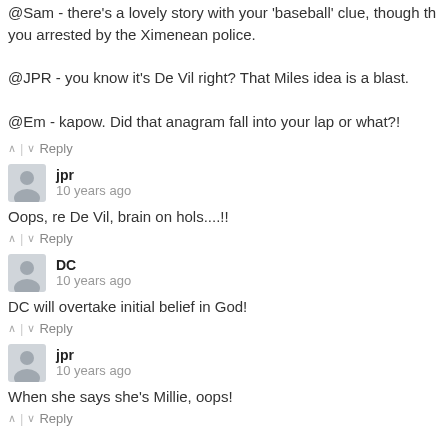@Sam - there's a lovely story with your 'baseball' clue, though th… you arrested by the Ximenean police.

@JPR - you know it's De Vil right? That Miles idea is a blast.

@Em - kapow. Did that anagram fall into your lap or what?!
^ | v  Reply
jpr
10 years ago
Oops, re De Vil, brain on hols....!!
^ | v  Reply
DC
10 years ago
DC will overtake initial belief in God!
^ | v  Reply
jpr
10 years ago
When she says she's Millie, oops!
^ | v  Reply